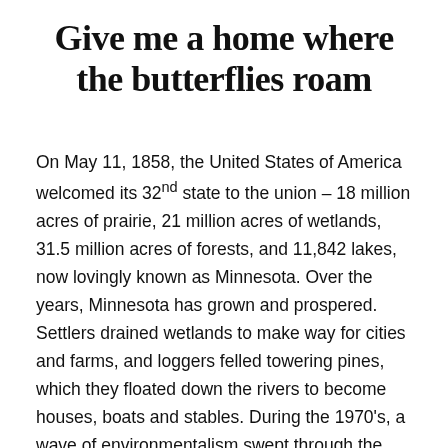Give me a home where the butterflies roam
On May 11, 1858, the United States of America welcomed its 32nd state to the union – 18 million acres of prairie, 21 million acres of wetlands, 31.5 million acres of forests, and 11,842 lakes, now lovingly known as Minnesota. Over the years, Minnesota has grown and prospered. Settlers drained wetlands to make way for cities and farms, and loggers felled towering pines, which they floated down the rivers to become houses, boats and stables. During the 1970's, a wave of environmentalism swept through the U.S. and, in the years since then, we've mostly towed the line,